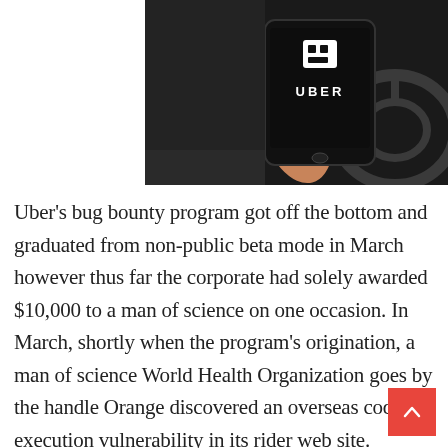[Figure (photo): A hand holding a smartphone showing the Uber app/logo in a car interior with steering wheel visible in the background.]
Uber's bug bounty program got off the bottom and graduated from non-public beta mode in March however thus far the corporate had solely awarded $10,000 to a man of science on one occasion. In March, shortly when the program's origination, a man of science World Health Organization goes by the handle Orange discovered an overseas code execution vulnerability in its rider web site. Pynnönen has been good at finding